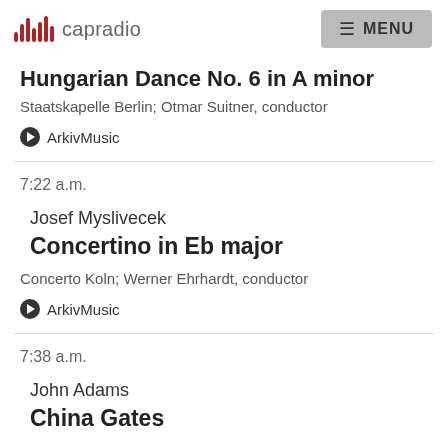capradio MENU
Hungarian Dance No. 6 in A minor
Staatskapelle Berlin; Otmar Suitner, conductor
ArkivMusic
7:22 a.m.
Josef Myslivecek
Concertino in Eb major
Concerto Koln; Werner Ehrhardt, conductor
ArkivMusic
7:38 a.m.
John Adams
China Gates